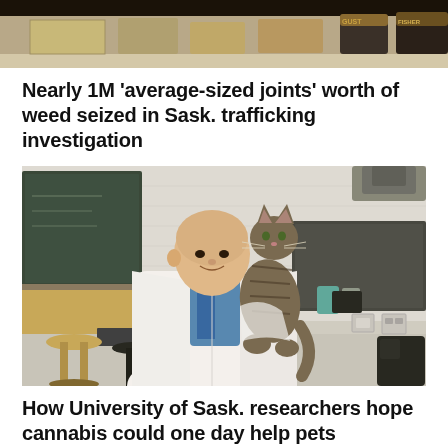[Figure (photo): Top portion of a store shelf photo showing packaged products, partially cropped]
Nearly 1M 'average-sized joints' worth of weed seized in Sask. trafficking investigation
[Figure (photo): A researcher in a white lab coat holding a tabby cat in what appears to be a veterinary or science laboratory setting with chalkboard and lab equipment visible]
How University of Sask. researchers hope cannabis could one day help pets